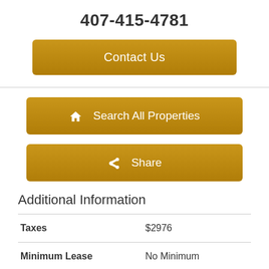407-415-4781
Contact Us
Search All Properties
Share
Additional Information
| Field | Value |
| --- | --- |
| Taxes | $2976 |
| Minimum Lease | No Minimum |